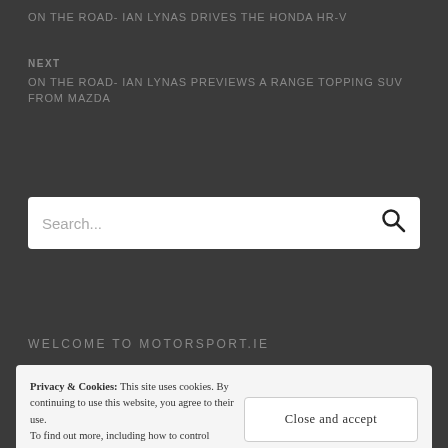ON THE ROAD- IAN LYNAS DRIVES THE HONDA HR-V
NEXT
ON THE ROAD- IAN LYNAS PREVIEWS A RANGE TOPPING SUV FROM MAZDA
[Figure (screenshot): Search box with placeholder text 'Search...' and a magnifying glass icon on the right]
WELCOME TO MOTORSPORT.IE
Privacy & Cookies: This site uses cookies. By continuing to use this website, you agree to their use. To find out more, including how to control cookies,
Close and accept